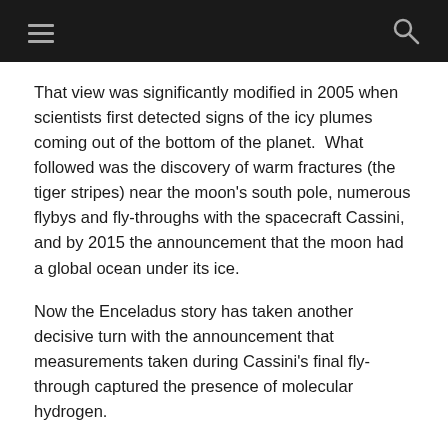Navigation bar with hamburger menu and search icon
That view was significantly modified in 2005 when scientists first detected signs of the icy plumes coming out of the bottom of the planet.  What followed was the discovery of warm fractures (the tiger stripes) near the moon's south pole, numerous flybys and fly-throughs with the spacecraft Cassini, and by 2015 the announcement that the moon had a global ocean under its ice.
Now the Enceladus story has taken another decisive turn with the announcement that measurements taken during Cassini's final fly-through captured the presence of molecular hydrogen.